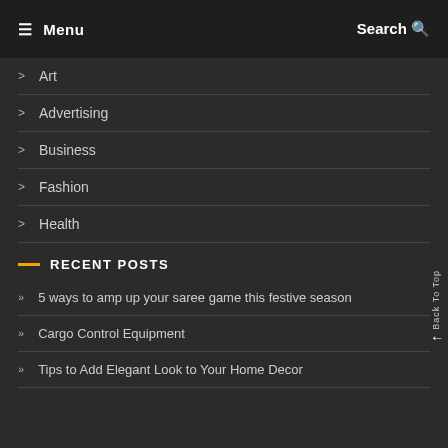☰ Menu   Search 🔍
Art
Advertising
Business
Fashion
Health
RECENT POSTS
5 ways to amp up your saree game this festive season
Cargo Control Equipment
Tips to Add Elegant Look to Your Home Decor